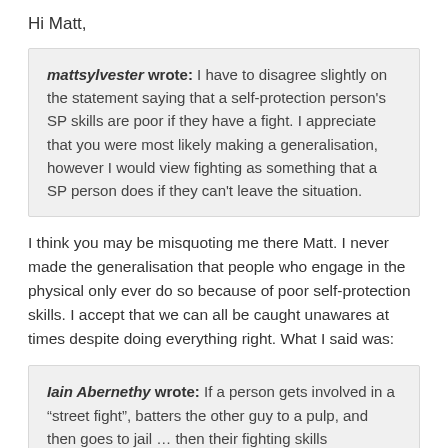Hi Matt,
mattsylvester wrote: I have to disagree slightly on the statement saying that a self-protection person's SP skills are poor if they have a fight. I appreciate that you were most likely making a generalisation, however I would view fighting as something that a SP person does if they can't leave the situation.
I think you may be misquoting me there Matt. I never made the generalisation that people who engage in the physical only ever do so because of poor self-protection skills. I accept that we can all be caught unawares at times despite doing everything right. What I said was:
Iain Abernethy wrote: If a person gets involved in a "street fight", batters the other guy to a pulp, and then goes to jail … then their fighting skills